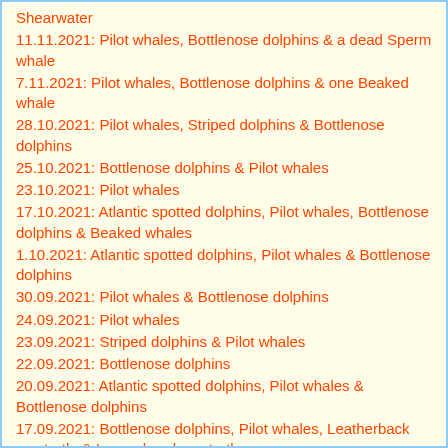Shearwater
11.11.2021: Pilot whales, Bottlenose dolphins & a dead Sperm whale
7.11.2021: Pilot whales, Bottlenose dolphins & one Beaked whale
28.10.2021: Pilot whales, Striped dolphins & Bottlenose dolphins
25.10.2021: Bottlenose dolphins & Pilot whales
23.10.2021: Pilot whales
17.10.2021: Atlantic spotted dolphins, Pilot whales, Bottlenose dolphins & Beaked whales
1.10.2021: Atlantic spotted dolphins, Pilot whales & Bottlenose dolphins
30.09.2021: Pilot whales & Bottlenose dolphins
24.09.2021: Pilot whales
23.09.2021: Striped dolphins & Pilot whales
22.09.2021: Bottlenose dolphins
20.09.2021: Atlantic spotted dolphins, Pilot whales & Bottlenose dolphins
17.09.2021: Bottlenose dolphins, Pilot whales, Leatherback sea turtle & Loggerhead sea turtle